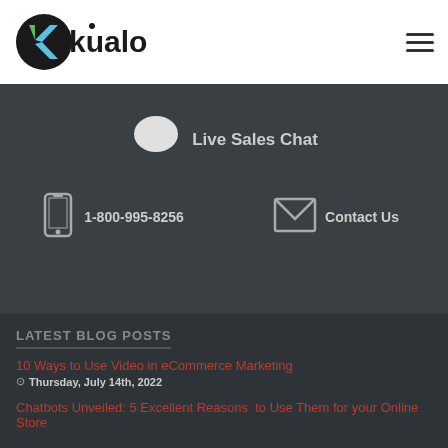[Figure (logo): Kualo logo — stylized black text 'kualo' with a green/blue 'k' lettermark]
[Figure (other): Hamburger menu icon (three horizontal lines)]
[Figure (other): Speech bubble chat icon (white on dark background)]
Live Sales Chat
[Figure (other): Mobile phone icon]
1-800-995-8256
[Figure (other): Envelope/email icon]
Contact Us
LATEST BLOG POSTS
10 Ways to Use Video in eCommerce Marketing
⊙ Thursday, July 14th, 2022
Chatbots Unveiled: 5 Excellent Reasons to Use Them for your Online Store